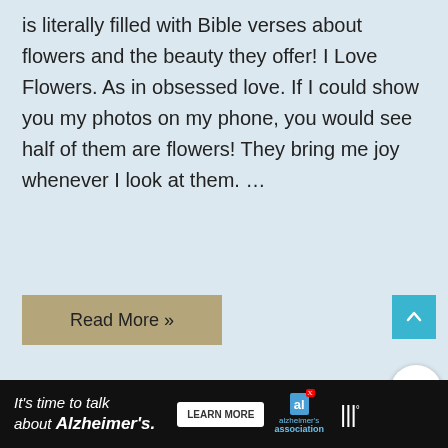is literally filled with Bible verses about flowers and the beauty they offer! I Love Flowers. As in obsessed love. If I could show you my photos on my phone, you would see half of them are flowers! They bring me joy whenever I look at them. …
Read More »
[Figure (screenshot): A photo of an American flag waving against a cloudy sky, with a 'WHAT'S NEXT → Giving it to God: 5 Ways...' overlay in the top right corner.]
[Figure (photo): Advertisement banner: 'It's time to talk about Alzheimer's.' with a 'LEARN MORE' button and Alzheimer's Association logo.]